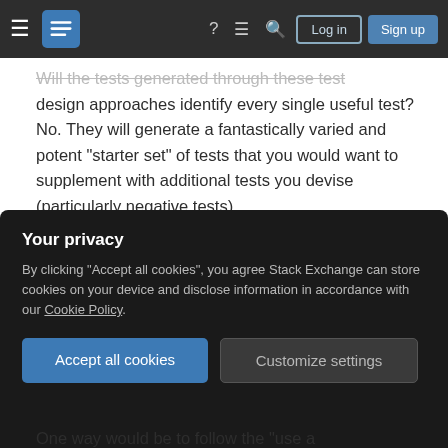Stack Exchange navigation bar with hamburger menu, logo, help, chat, search icons, Log in and Sign up buttons
Will the tests generated through these test design approaches identify every single useful test? No. They will generate a fantastically varied and potent "starter set" of tests that you would want to supplement with additional tests you devise (particularly negative tests).
Could they generate most of the tests you would want? Yes (provided you select test inputs thoughtfully).
Would the tests generated by this approach find a disproportionately high number of defects as
One way would be to follow the "use a
Your privacy
By clicking "Accept all cookies", you agree Stack Exchange can store cookies on your device and disclose information in accordance with our Cookie Policy.
Accept all cookies
Customize settings